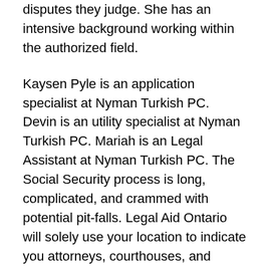Arbitrators can bias the final choice in the disputes they judge. She has an intensive background working within the authorized field.
Kaysen Pyle is an application specialist at Nyman Turkish PC. Devin is an utility specialist at Nyman Turkish PC. Mariah is an Legal Assistant at Nyman Turkish PC. The Social Security process is long, complicated, and crammed with potential pit-falls. Legal Aid Ontario will solely use your location to indicate you attorneys, courthouses, and authorized clinics in your neighbourhood. Kaysen specializes in gathering essentially the most related info to make sure your Social Security Disability application is decided fairly and appropriately. OurTurkish firm formation legal professionals are prepared to assist you tocompany formation in Turkey. She enjoys working at Nyman Turkish due to the pleasant and useful ambiance. Kelsey is a Legal Assistant on the Application staff at Nyman Turkish